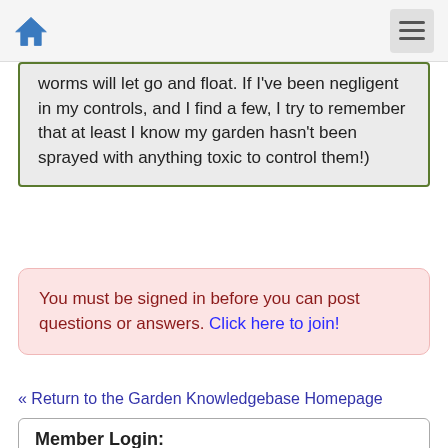Home | Menu
worms will let go and float. If I've been negligent in my controls, and I find a few, I try to remember that at least I know my garden hasn't been sprayed with anything toxic to control them!)
You must be signed in before you can post questions or answers. Click here to join!
« Return to the Garden Knowledgebase Homepage
Member Login:
Username or email